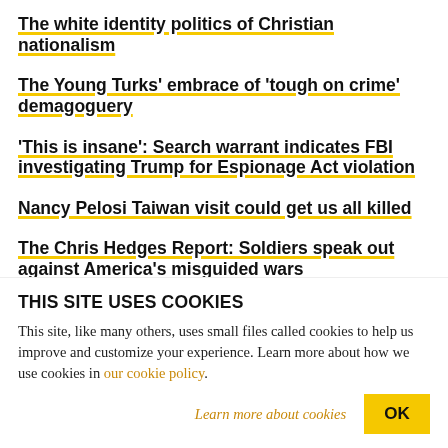The white identity politics of Christian nationalism
The Young Turks' embrace of 'tough on crime' demagoguery
'This is insane': Search warrant indicates FBI investigating Trump for Espionage Act violation
Nancy Pelosi Taiwan visit could get us all killed
The Chris Hedges Report: Soldiers speak out against America's misguided wars
The Chris Hedges Report: We don't need the CIA
THIS SITE USES COOKIES
This site, like many others, uses small files called cookies to help us improve and customize your experience. Learn more about how we use cookies in our cookie policy.
Learn more about cookies
OK